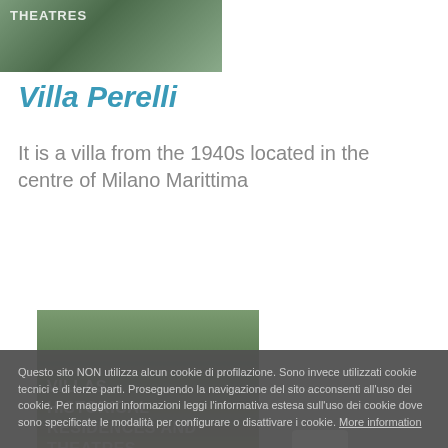[Figure (photo): Photo of a building/theatre with trees, labeled THEATRES]
Villa Perelli
It is a villa from the 1940s located in the centre of Milano Marittima
[Figure (photo): Photo of villas with trees, labeled VILLAS, HISTORICAL RESIDENCES AND THEATRES]
Villa Giuseppe Dalanti
Questo sito NON utilizza alcun cookie di profilazione. Sono invece utilizzati cookie tecnici e di terze parti. Proseguendo la navigazione del sito acconsenti all'uso dei cookie. Per maggiori informazioni leggi l'informativa estesa sull'uso dei cookie dove sono specificate le modalità per configurare o disattivare i cookie. More information